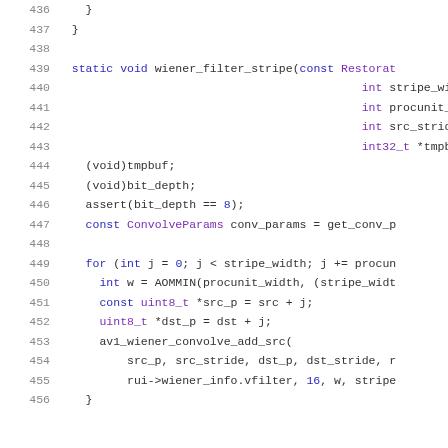Code listing lines 436-456: C source code for wiener_filter_stripe function